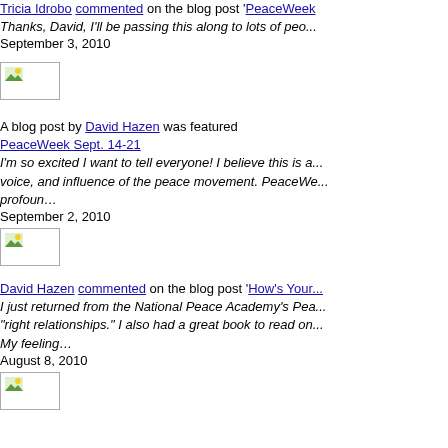Tricia Idrobo commented on the blog post 'PaceWeek... Thanks, David, I'll be passing this along to lots of peo... September 3, 2010
[Figure (photo): Small thumbnail image placeholder]
A blog post by David Hazen was featured PeaceWeek Sept. 14-21 I'm so excited I want to tell everyone! I believe this is a... voice, and influence of the peace movement. PeaWeek... profoun... September 2, 2010
[Figure (photo): Small thumbnail image placeholder]
David Hazen commented on the blog post 'How's Your... I just returned from the National Peace Academy's Pea... 'right relationships.' I also had a great book to read on... My feeling... August 8, 2010
[Figure (photo): Small thumbnail image placeholder]
John R. Spence, Jr. replied to the discussion 'Imaginin... COMMUNITY PEACEBUILDING David this is really cool. We also volunteer a little with... 100% to both groups, but in my heart, I know that we h... peac... July 23, 2010